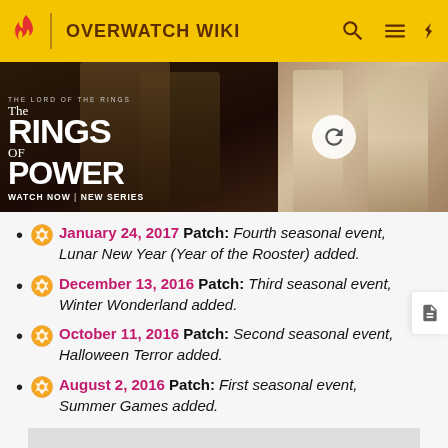OVERWATCH WIKI
[Figure (photo): Ad banner for The Lord of the Rings: The Rings of Power. Left side shows dark fantasy characters with text 'THE LORD OF THE RINGS / THE RINGS OF POWER / WATCH NOW | NEW SERIES'. Right side shows a blonde woman and others in robes with a refresh icon.]
January 24, 2017 Patch: Fourth seasonal event, Lunar New Year (Year of the Rooster) added.
December 13, 2016 Patch: Third seasonal event, Winter Wonderland added.
October 11, 2016 Patch: Second seasonal event, Halloween Terror added.
August 2, 2016 Patch: First seasonal event, Summer Games added.